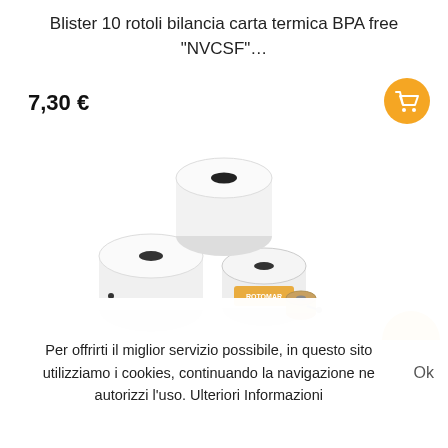Blister 10 rotoli bilancia carta termica BPA free "NVCSF"…
7,30 €
[Figure (photo): Product photo showing a stack of white thermal paper rolls with a small Rotomar branded spool, on a white background]
Per offrirti il miglior servizio possibile, in questo sito utilizziamo i cookies, continuando la navigazione ne autorizzi l'uso. Ulteriori Informazioni
Ok